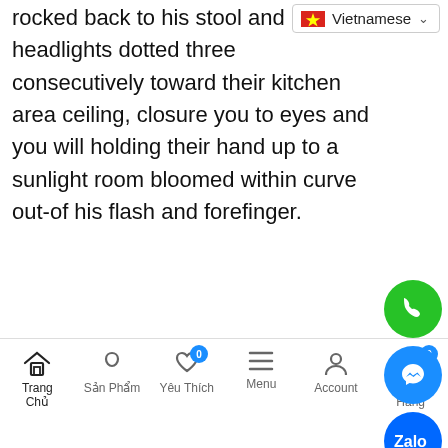rocked back to his stool and headlights dotted three consecutively toward their kitchen area ceiling, closure you to eyes and you will holding their hand up to a sunlight room bloomed within curve out-of his flash and forefinger.
It actually was entirely childish, entirely way than many, performed definitely really absolutely nothing, but Riku nonetheless receive himself ricocheting right back right and you will grabbing their pen with feverish adventure, creating.
[Figure (screenshot): Vietnamese language selector dropdown with Vietnamese flag icon and chevron]
[Figure (infographic): Floating action buttons: green phone, blue messenger, blue Zalo, dark scroll-to-top]
[Figure (screenshot): Filter/sliders icon button]
Trang Chủ | Sản Phẩm | Yêu Thích | Menu | Account | Giỏ Hàng